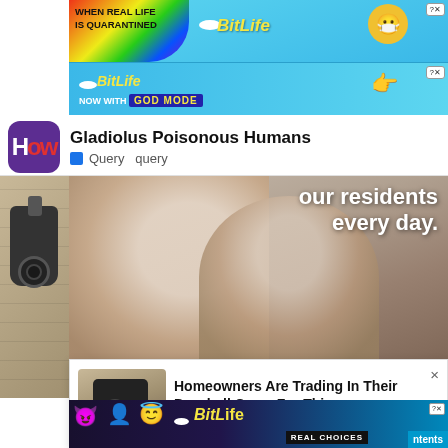[Figure (infographic): BitLife ad banner - rainbow background with text 'WHEN REAL LIFE IS QUARANTINED' and BitLife logo with close buttons]
[Figure (infographic): BitLife sub-banner - 'NOW WITH GOD MODE' on blue background with close button]
Gladiolus Poisonous Humans
Query  query
[Figure (photo): Photo of two elderly women smiling and embracing, with overlay text 'our residents every day.']
[Figure (photo): Photo of outdoor security camera mounted on wall]
Homeowners Are Trading In Their Doorbell Cams For This
Camerca | Sponsored
[Figure (infographic): BitLife bottom banner ad with 'REAL CHOICES' text and 'ntents' visible]